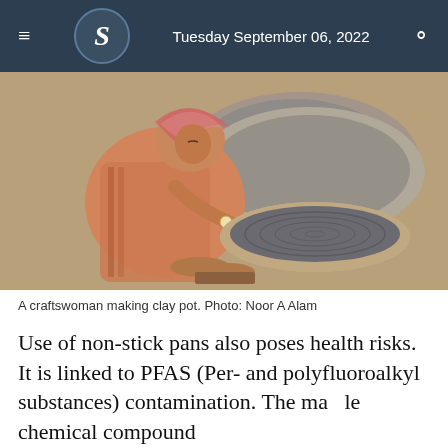Tuesday September 06, 2022
[Figure (photo): A craftswoman sitting on the ground making a clay pot, with wet clay spread on a mat behind her. Photo by Noor A Alam.]
A craftswoman making clay pot. Photo: Noor A Alam
Use of non-stick pans also poses health risks. It is linked to PFAS (Per- and polyfluoroalkyl substances) contamination. The ma  le chemical compound